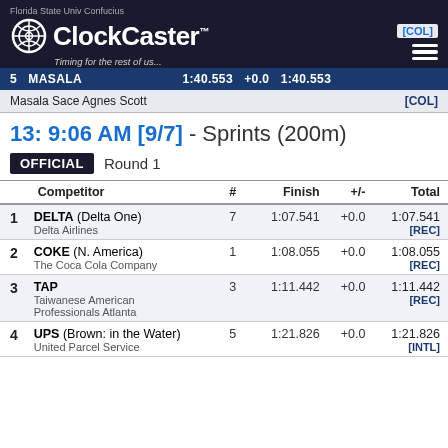ClockCaster - Timing for the rest of us... [COL]
5  MASALA   1:40.553  +0.0  1:40.553
Masala Sace Agnes Scott  [COL]
13: 9:06 AM [9/7] - Sprints (200m)
OFFICIAL  Round 1
|  | Competitor | # | Finish | +/- | Total |
| --- | --- | --- | --- | --- | --- |
| 1 | DELTA (Delta One)
Delta Airlines | 7 | 1:07.541 | +0.0 | 1:07.541
[REC] |
| 2 | COKE (N. America)
The Coca Cola Company | 1 | 1:08.055 | +0.0 | 1:08.055
[REC] |
| 3 | TAP
Taiwanese American Professionals Atlanta | 3 | 1:11.442 | +0.0 | 1:11.442
[REC] |
| 4 | UPS (Brown: in the Water)
United Parcel Service | 5 | 1:21.826 | +0.0 | 1:21.826
[INTL] |